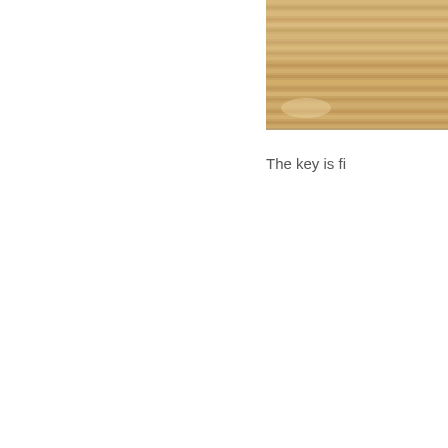[Figure (photo): A close-up photograph of wood grain texture showing light brown/tan coloring with parallel wood grain lines. The image is cropped at the top-right corner of the page.]
The key is fi